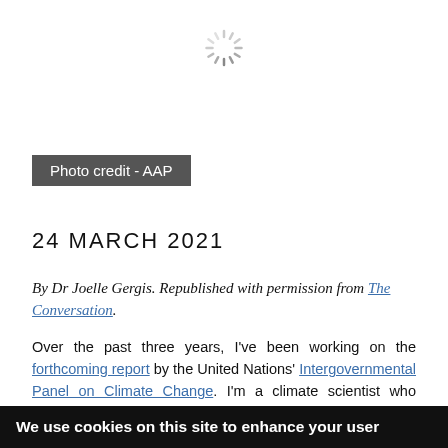[Figure (other): Loading spinner icon (circular dashed lines radiating from center)]
Photo credit - AAP
24 MARCH 2021
By Dr Joelle Gergis. Republished with permission from The Conversation.
Over the past three years, I've been working on the forthcoming report by the United Nations' Intergovernmental Panel on Climate Change. I'm a climate scientist who contributed to the chapter on global water cycle changes. It's concerning to think some theoretical impacts described in this report may be coming to life – yet again – in
We use cookies on this site to enhance your user